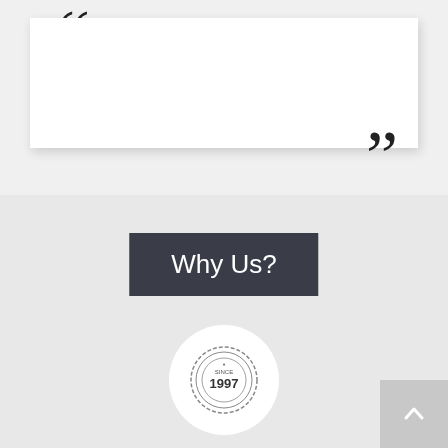[Figure (illustration): Large open quote mark at top left of white box]
[Figure (illustration): Large close quote mark at bottom right of white box]
Why Us?
[Figure (logo): Circular badge/seal icon with text 'SINCE 1997' in center]
Credibility Since 1997
[Figure (illustration): Flame and layers/stack icon inside white circle]
[Figure (illustration): Back to top arrow button, light grey square with upward chevron]